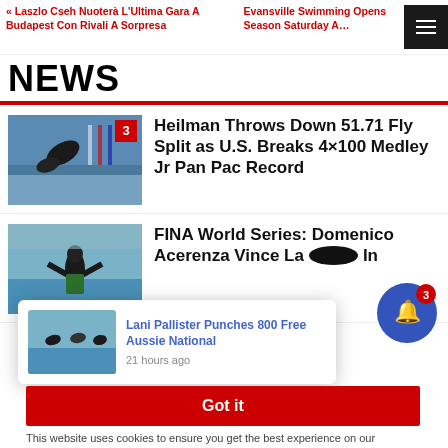« Laszlo Cseh Nuoterà L'Ultima Gara A Budapest Con Rivali A Sorpresa
Evansville Swimming Opens Season Saturday A…
NEWS
[Figure (photo): Swimmer diving into pool, competition setting, badge showing number 3]
Heilman Throws Down 51.71 Fly Split as U.S. Breaks 4×100 Medley Jr Pan Pac Record
[Figure (photo): Swimmer celebrating in open water, arms raised]
FINA World Series: Domenico Acerenza Vince La 10km In
[Figure (photo): Swimmers at start of race, Lani Pallister notification popup thumbnail]
Lani Pallister Punches 800 Free Aussie National
21 hours ago
Got it
This website uses cookies to ensure you get the best experience on our website.